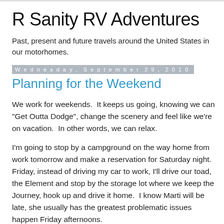R Sanity RV Adventures
Past, present and future travels around the United States in our motorhomes.
Wednesday, September 29, 2010
Planning for the Weekend
We work for weekends.  It keeps us going, knowing we can "Get Outta Dodge", change the scenery and feel like we're on vacation.  In other words, we can relax.
I'm going to stop by a campground on the way home from work tomorrow and make a reservation for Saturday night.  Friday, instead of driving my car to work, I'll drive our toad, the Element and stop by the storage lot where we keep the Journey, hook up and drive it home.  I know Marti will be late, she usually has the greatest problematic issues happen Friday afternoons.